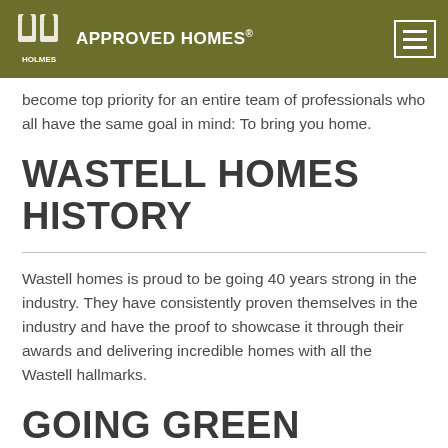APPROVED HOMES®
become top priority for an entire team of professionals who all have the same goal in mind: To bring you home.
WASTELL HOMES HISTORY
Wastell homes is proud to be going 40 years strong in the industry. They have consistently proven themselves in the industry and have the proof to showcase it through their awards and delivering incredible homes with all the Wastell hallmarks.
GOING GREEN